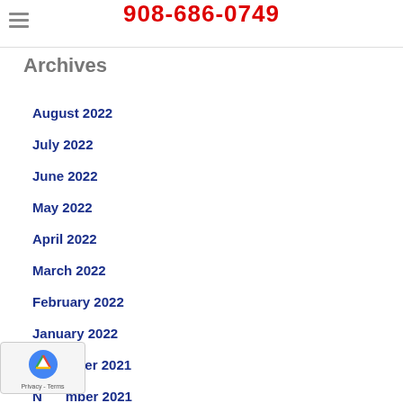908-686-0749
Archives
August 2022
July 2022
June 2022
May 2022
April 2022
March 2022
February 2022
January 2022
December 2021
November 2021
October 2021